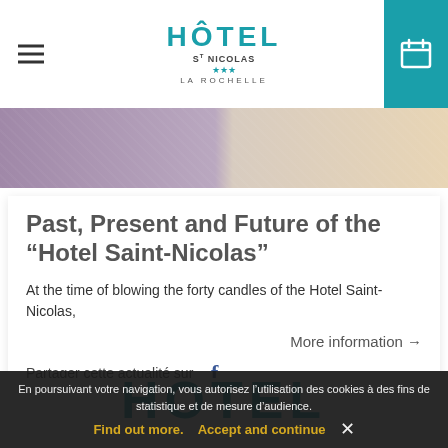Hotel Saint-Nicolas La Rochelle — navigation header with logo
[Figure (photo): Hotel room photo strip showing purple patterned carpet on left and light-colored bed/furniture on right]
Past, Present and Future of the “Hotel Saint-Nicolas”
At the time of blowing the forty candles of the Hotel Saint-Nicolas,
More information →
Partager cette actualité sur  f
[Figure (logo): Hotel Saint-Nicolas logo in large teal letters at the bottom]
En poursuivant votre navigation, vous autorisez l’utilisation des cookies à des fins de statistique et de mesure d’audience.
Find out more.   Accept and continue